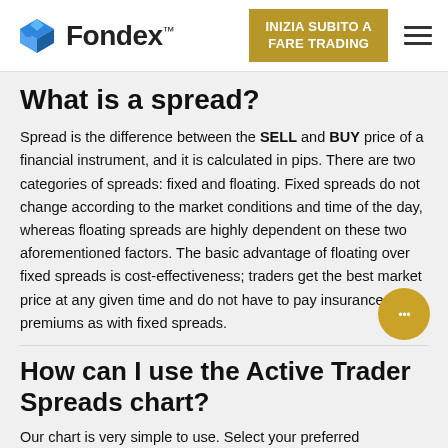Fondex — INIZIA SUBITO A FARE TRADING
What is a spread?
Spread is the difference between the SELL and BUY price of a financial instrument, and it is calculated in pips. There are two categories of spreads: fixed and floating. Fixed spreads do not change according to the market conditions and time of the day, whereas floating spreads are highly dependent on these two aforementioned factors. The basic advantage of floating over fixed spreads is cost-effectiveness; traders get the best market price at any given time and do not have to pay insurance premiums as with fixed spreads.
How can I use the Active Trader Spreads chart?
Our chart is very simple to use. Select your preferred instrument from the drop-down list of Popular Markets,